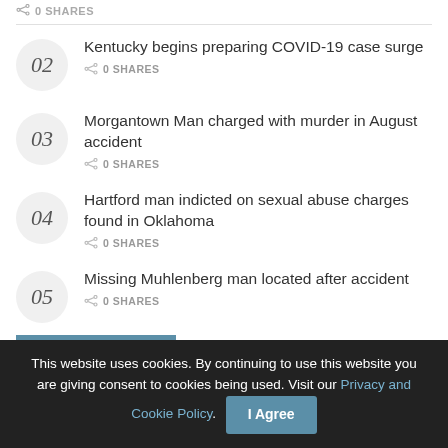0 SHARES
02 Kentucky begins preparing COVID-19 case surge — 0 SHARES
03 Morgantown Man charged with murder in August accident — 0 SHARES
04 Hartford man indicted on sexual abuse charges found in Oklahoma — 0 SHARES
05 Missing Muhlenberg man located after accident — 0 SHARES
This website uses cookies. By continuing to use this website you are giving consent to cookies being used. Visit our Privacy and Cookie Policy.